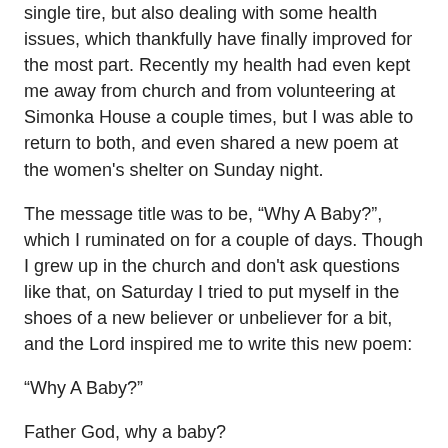single tire, but also dealing with some health issues, which thankfully have finally improved for the most part. Recently my health had even kept me away from church and from volunteering at Simonka House a couple times, but I was able to return to both, and even shared a new poem at the women's shelter on Sunday night.
The message title was to be, “Why A Baby?”, which I ruminated on for a couple of days. Though I grew up in the church and don't ask questions like that, on Saturday I tried to put myself in the shoes of a new believer or unbeliever for a bit, and the Lord inspired me to write this new poem:
“Why A Baby?”
Father God, why a baby?
Jesus could have come in power: